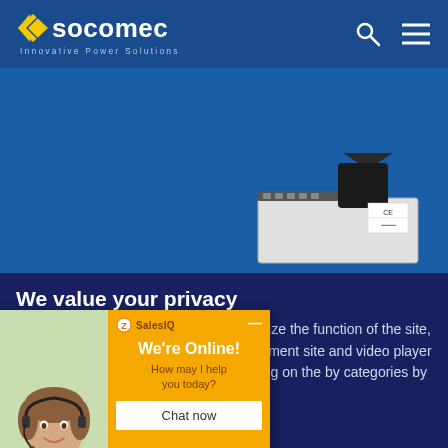Socomec — Innovative Power Solutions
[Figure (photo): Socomec electrical device/relay product on blue background]
We value your privacy
Socomec uses cookies  in order to optimize the function of the site, as well as cookies for audience measurement site and video player are enabled by default. Disabling cookies by clicking on the by categories by Disabling cookies may
[Figure (screenshot): SalesIQ live chat widget overlay showing a woman with headset, 'We're Online! How may I help you today?' and a 'Chat now' button]